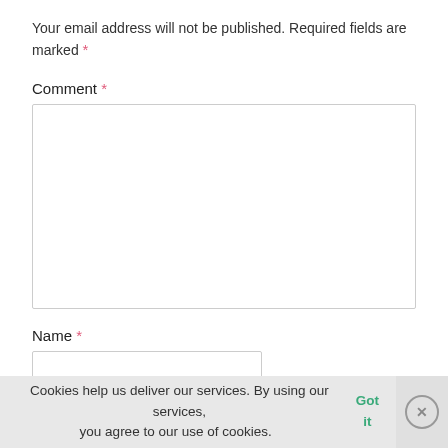Your email address will not be published. Required fields are marked *
Comment *
[Figure (other): Large empty comment textarea input field]
Name *
[Figure (other): Short text input field for name]
Email *
Cookies help us deliver our services. By using our services, you agree to our use of cookies.  Got it